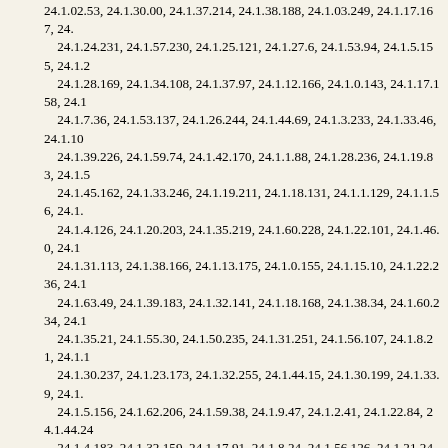24.1.02.53, 24.1.30.00, 24.1.37.214, 24.1.38.188, 24.1.03.249, 24.1.17.167, 24.1.24.231, 24.1.57.230, 24.1.25.121, 24.1.27.6, 24.1.53.94, 24.1.5.155, 24.1.2, 24.1.28.169, 24.1.34.108, 24.1.37.97, 24.1.12.166, 24.1.0.143, 24.1.17.158, 24.1, 24.1.7.36, 24.1.53.137, 24.1.26.244, 24.1.44.69, 24.1.3.233, 24.1.33.46, 24.1.10, 24.1.39.226, 24.1.59.74, 24.1.42.170, 24.1.1.88, 24.1.28.236, 24.1.19.83, 24.1.5, 24.1.45.162, 24.1.33.246, 24.1.19.211, 24.1.18.131, 24.1.1.129, 24.1.1.56, 24.1., 24.1.4.126, 24.1.20.203, 24.1.35.219, 24.1.60.228, 24.1.22.101, 24.1.46.0, 24.1, 24.1.31.113, 24.1.38.166, 24.1.13.175, 24.1.0.155, 24.1.15.10, 24.1.22.236, 24.1, 24.1.63.49, 24.1.39.183, 24.1.32.141, 24.1.18.168, 24.1.38.34, 24.1.60.234, 24.1, 24.1.35.21, 24.1.55.30, 24.1.50.235, 24.1.31.251, 24.1.56.107, 24.1.8.21, 24.1.1, 24.1.30.237, 24.1.23.173, 24.1.32.255, 24.1.44.15, 24.1.30.199, 24.1.33.9, 24.1., 24.1.5.156, 24.1.62.206, 24.1.59.38, 24.1.9.47, 24.1.2.41, 24.1.22.84, 24.1.44.24, 24.1.4.183, 24.1.32.159, 24.1.17.91, 24.1.8.24, 24.1.56.126, 24.1.21.245, 24.1.2, 24.1.58.176, 24.1.35.66, 24.1.42.88, 24.1.35.216, 24.1.28.152, 24.1.40.189, 24.1, 24.1.48.41, 24.1.63.45, 24.1.0.169, 24.1.55.79, 24.1.1.63, 24.1.5.94, 24.1.24.22, 24.1.39.16, 24.1.52.61, 24.1.37.217, 24.1.20.236, 24.1.31.58, 24.1.10.156, 24.1.1, 24.1.20.87, 24.1.6.176, 24.1.1.159, 24.1.23.177, 24.1.32.9, 24.1.7.149, 24.1.23.1, 24.1.40.182, 24.1.37.208, 24.1.31.57, 24.1.57.251, 24.1.51.51, 24.1.47.104, 24.1, 24.1.52.77, 24.1.18.163, 24.1.46.80, 24.1.51.131, 24.1.8.111, 24.1.34.163, 24.1., 24.1.39.65, 24.1.61.254, 24.1.36.164, 24.1.42.149, 24.1.31.229, 24.1.16.75, 24., 24.1.37.133, 24.1.61.171, 24.1.2.59, 24.1.31.183, 24.1.34.1, 24.1.19.237, 24.1.4, 24.1.51.203, 24.1.4.241, 24.1.10.60, 24.1.59.196, 24.1.27.177, 24.1.57.234, 24.1, 24.1.26.125, 24.1.39.102, 24.1.47.57, 24.1.20.104, 24.1.62.120, 24.1.49.84, 24., 24.1.33.13, 24.1.5.213, 24.1.58.81, 24.1.25.9, 24.1.51.183, 24.1.12.48, 24.1.22.1, 24.1.63.52, 24.1.20.0, 24.1.53.245, 24.1.61.223, 24.1.19.235, 24.1.52.81, 24.1.2, 24.1.32.221, 24.1.12.203, 24.1.44.53, 24.1.5.216, 24.1.36.56, 24.1.24.225, 24.1., 24.1.44.220, 24.1.2.151, 24.1.23.0, 24.1.38.194, 24.1.61.184, 24.1.38.95, 24.1.5, 24.1.46.64, 24.1.27.73, 24.1.38.186, 24.1.46.16, 24.1.18.214, 24.1.18.21, 24.1.1, 24.1.19.126, 24.1.15.52, 24.1.44.20, 24.1.20.47, 24.1.54.86, 24.1.2.129, 24.1.56, 24.1.15.146, 24.1.27.158, 24.1.35.118, 24.1.14.154, 24.1.11.137, 24.1.3.15, 24.1, 24.1.13.104, 24.1.44.141, 24.1.20.181, 24.1.14.148, 24.1.22.69, 24.1.53.80, 24.1, 24.1.59.220, 24.1.28.88, 24.1.35.223, 24.1.3.45, 24.1.26.30, 24.1.40.38, 24.1.41, 24.1.0.249, 24.1.16.22, 24.1.22.126, 24.1.42.98, 24.1.31.242, 24.1.20.37, 24.